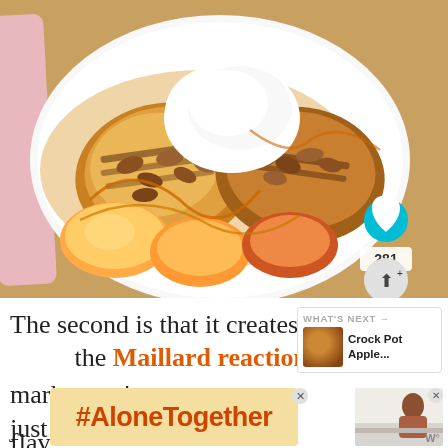[Figure (photo): Close-up photo of grilled French toast topped with peaches, pecans, and whipped cream on a white plate, with caramel drizzle, on a pink cloth background. A teal heart button and share count of 281 are overlaid.]
The second is that it creates textural the Maillard reaction. Those char marks aren't just flav
[Figure (infographic): WHAT'S NEXT widget showing a thumbnail of Crock Pot Apple... dish]
[Figure (infographic): Ad banner showing #AloneTogether hashtag in orange text on peach background, with a woman cooking image on the right side]